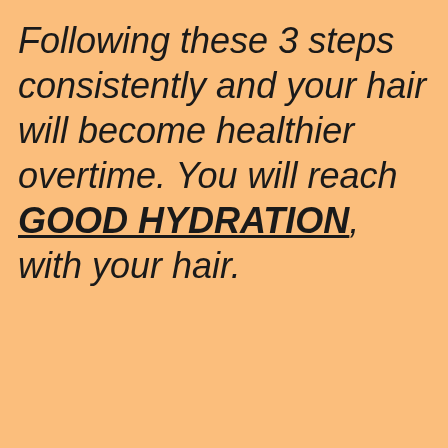Following these 3 steps consistently and your hair will become healthier overtime. You will reach GOOD HYDRATION, with your hair.